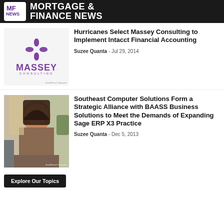MF NEWS MORTGAGE & FINANCE NEWS
[Figure (logo): Massey Consulting logo with purple star/pinwheel and purple text]
Hurricanes Select Massey Consulting to Implement Intacct Financial Accounting
Suzee Quanta - Jul 29, 2014
[Figure (photo): Professional woman with dark hair smiling, office background]
Southeast Computer Solutions Form a Strategic Alliance with BAASS Business Solutions to Meet the Demands of Expanding Sage ERP X3 Practice
Suzee Quanta - Dec 5, 2013
Explore Our Topics